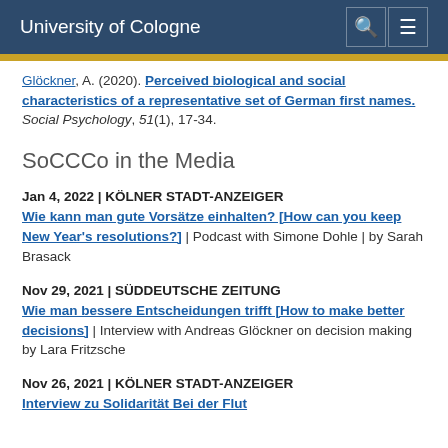University of Cologne
Glöckner, A. (2020). Perceived biological and social characteristics of a representative set of German first names. Social Psychology, 51(1), 17-34.
SoCCCo in the Media
Jan 4, 2022 | KÖLNER STADT-ANZEIGER Wie kann man gute Vorsätze einhalten? [How can you keep New Year's resolutions?] | Podcast with Simone Dohle | by Sarah Brasack
Nov 29, 2021 | SÜDDEUTSCHE ZEITUNG Wie man bessere Entscheidungen trifft [How to make better decisions] | Interview with Andreas Glöckner on decision making by Lara Fritzsche
Nov 26, 2021 | KÖLNER STADT-ANZEIGER Interview zu Solidarität Bei der Flut